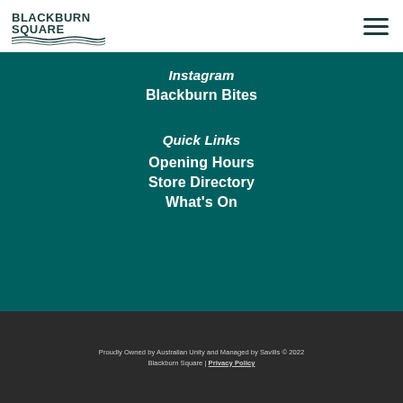[Figure (logo): Blackburn Square logo with text and striped wave graphic]
Instagram
Blackburn Bites
Quick Links
Opening Hours
Store Directory
What's On
Proudly Owned by Australian Unity and Managed by Savills © 2022 Blackburn Square | Privacy Policy